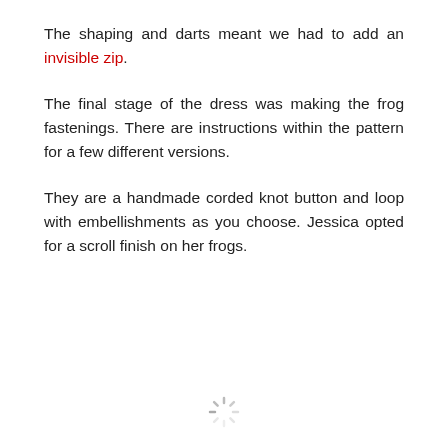The shaping and darts meant we had to add an invisible zip.
The final stage of the dress was making the frog fastenings. There are instructions within the pattern for a few different versions.
They are a handmade corded knot button and loop with embellishments as you choose. Jessica opted for a scroll finish on her frogs.
[Figure (other): Loading spinner icon at the bottom center of the page]